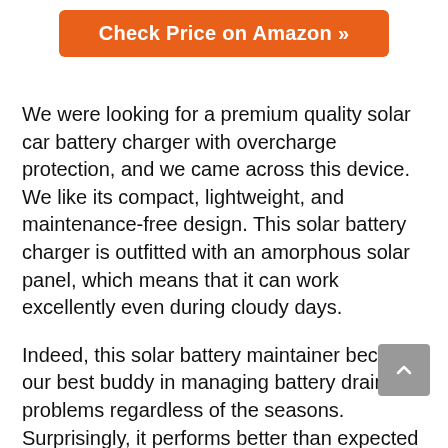[Figure (other): Orange 'Check Price on Amazon >>' button]
We were looking for a premium quality solar car battery charger with overcharge protection, and we came across this device. We like its compact, lightweight, and maintenance-free design. This solar battery charger is outfitted with an amorphous solar panel, which means that it can work excellently even during cloudy days.
Indeed, this solar battery maintainer became our best buddy in managing battery draining problems regardless of the seasons. Surprisingly, it performs better than expected in impeding reverse charging, thanks to its high-quality blocking diode feature.
As proof of its durability, this option is designed with IP44 weatherproof and splash-proof features. It also has suction